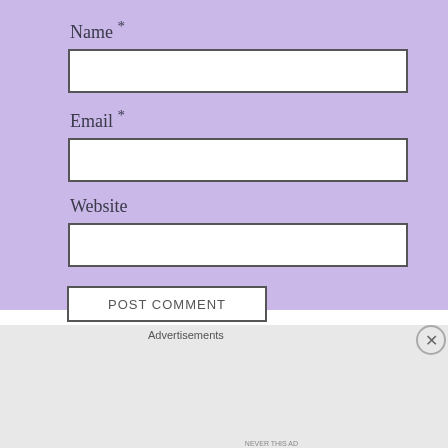Name *
Email *
Website
POST COMMENT
Advertisements
[Figure (screenshot): DuckDuckGo advertisement banner: orange/red background with text 'Search, browse, and email with more privacy. All in One Free App' and an image of a phone with the DuckDuckGo logo]